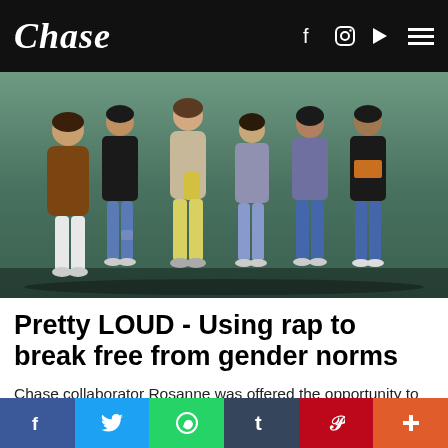Chase
[Figure (photo): Five young women standing against a green/teal wall, posing together. They wear casual streetwear including jeans, jackets, and sneakers.]
Pretty LOUD - Using rap to break free from gender norms
Chase collaborator Rosanne was offered the opportunity to travel to Belgrado in the context of Balkan Trafik Festival. During her trip, she talked to Silva, one of the members of